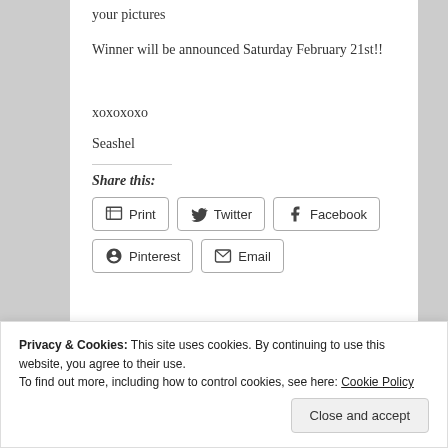your pictures
Winner will be announced Saturday February 21st!!
xoxoxoxo
Seashel
Share this:
Print  Twitter  Facebook  Pinterest  Email
Privacy & Cookies: This site uses cookies. By continuing to use this website, you agree to their use.
To find out more, including how to control cookies, see here: Cookie Policy
Close and accept